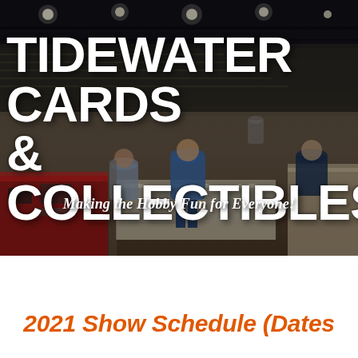[Figure (photo): Indoor sports arena or convention hall converted to a card and collectibles show, with rows of vendor tables covered in red, white, and beige tablecloths. People browsing the tables under industrial ceiling lights. Overhead view shows long aisles between vendor booths. Dark moody lighting with overhead fluorescent/spot lights visible in the ceiling.]
TIDEWATER CARDS & COLLECTIBLES
Making the Hobby Fun for Everyone!
2021 Show Schedule (Dates